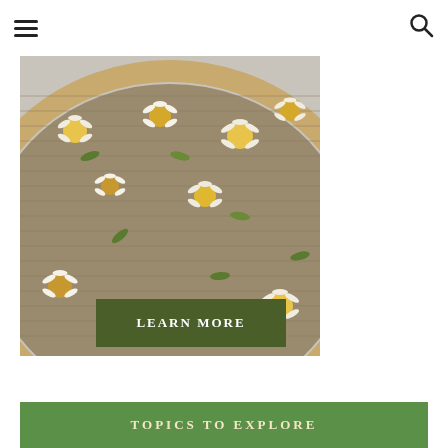☰  🔍
[Figure (photo): Close-up photo of chamomile flowers drying on a burlap-covered wooden embroidery hoop, with a green 'LEARN MORE' button overlay]
TOPICS TO EXPLORE